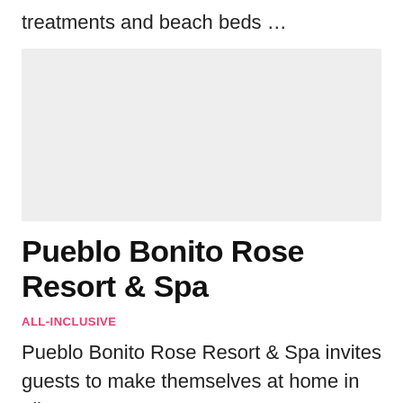treatments and beach beds …
[Figure (photo): Placeholder image block for resort photo]
Pueblo Bonito Rose Resort & Spa
ALL-INCLUSIVE
Pueblo Bonito Rose Resort & Spa invites guests to make themselves at home in all-